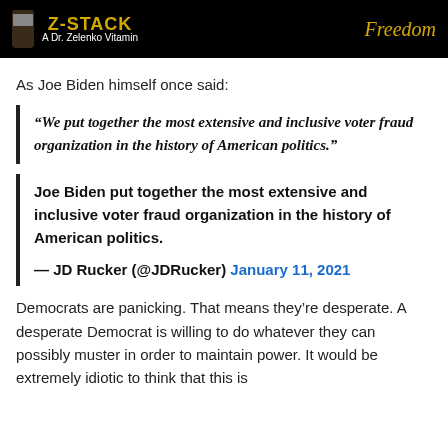[Figure (logo): Z-STACK advertisement banner with bottle image, 'Z-STACK A Dr. Zelenko Vitamin' text in gold/white, and 'Freedom' in gold italic text on black background]
As Joe Biden himself once said:
“We put together the most extensive and inclusive voter fraud organization in the history of American politics.”
Joe Biden put together the most extensive and inclusive voter fraud organization in the history of American politics.

— JD Rucker (@JDRucker) January 11, 2021
Democrats are panicking. That means they’re desperate. A desperate Democrat is willing to do whatever they can possibly muster in order to maintain power. It would be extremely idiotic to think that this is